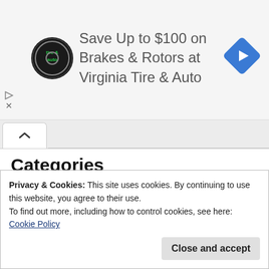[Figure (screenshot): Advertisement banner: Virginia Tire & Auto logo (circular black logo with green 'tire & auto' text), ad text 'Save Up to $100 on Brakes & Rotors at Virginia Tire & Auto', and a blue diamond-shaped arrow icon on the right. Play and close controls on the left side.]
[Figure (screenshot): Browser tab bar with a chevron-up (^) tab indicator.]
Categories
Chicken & Beef (9)
Deserts (9)
D
F
K
Kids Menu (5)
Privacy & Cookies: This site uses cookies. By continuing to use this website, you agree to their use.
To find out more, including how to control cookies, see here: Cookie Policy
Close and accept